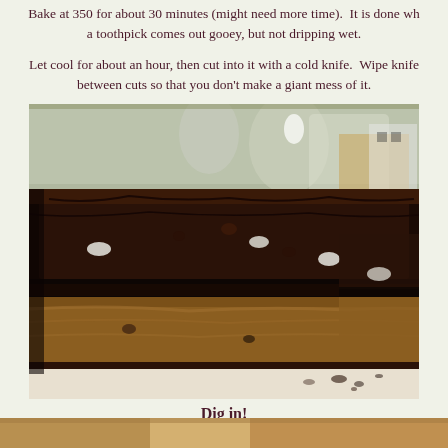Bake at 350 for about 30 minutes (might need more time).  It is done when a toothpick comes out gooey, but not dripping wet.
Let cool for about an hour, then cut into it with a cold knife.  Wipe knife between cuts so that you don't make a giant mess of it.
[Figure (photo): Close-up cross-section of a layered brownie bar showing dark chocolate brownie top layer with Oreo pieces, a middle dark layer, and a golden cookie dough bottom layer on a light surface]
Dig in!
[Figure (photo): Bottom strip of another food photo partially visible]